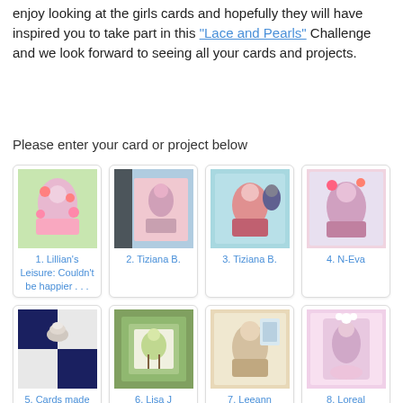enjoy looking at the girls cards and hopefully they will have inspired you to take part in this "Lace and Pearls" Challenge and we look forward to seeing all your cards and projects.
Please enter your card or project below
[Figure (photo): Grid of 8 craft card thumbnails with linked labels. Row 1: 1. Lillian's Leisure: Couldn't be happier . . ., 2. Tiziana B., 3. Tiziana B., 4. N-Eva. Row 2: 5. Cards made, 6. Lisa J, 7. Leeann, 8. Loreal]